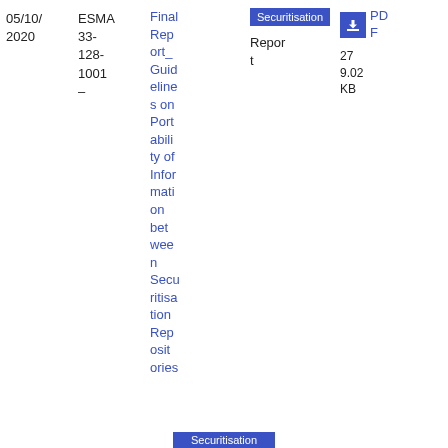05/10/2020
ESMA 33-128-1001 –
Final Report_Guidelines on Portability of Information between Securitisation Repositories
Securitisation
Report
PDF
279.02 KB